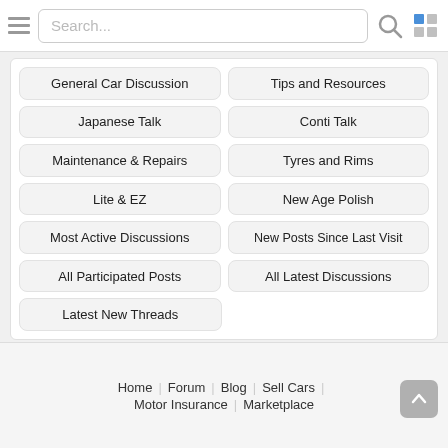[Figure (screenshot): Header with hamburger menu, search bar, search icon, and grid icon]
General Car Discussion
Tips and Resources
Japanese Talk
Conti Talk
Maintenance & Repairs
Tyres and Rims
Lite & EZ
New Age Polish
Most Active Discussions
New Posts Since Last Visit
All Participated Posts
All Latest Discussions
Latest New Threads
Home | Forum | Blog | Sell Cars | Motor Insurance | Marketplace